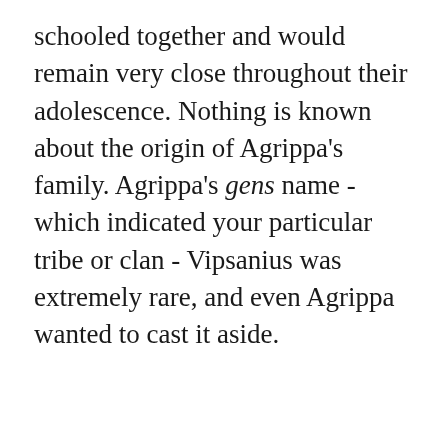schooled together and would remain very close throughout their adolescence. Nothing is known about the origin of Agrippa's family. Agrippa's gens name - which indicated your particular tribe or clan - Vipsanius was extremely rare, and even Agrippa wanted to cast it aside.
ADVERTISEMENT
REMOVE ADS